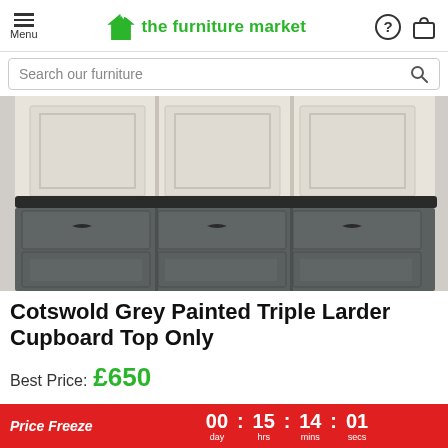Menu | the furniture market
Search our furniture
[Figure (photo): Close-up photo of a Cotswold Grey Painted Triple Larder Cupboard showing grey painted lower drawers with cup handles and cream/off-white upper cabinet doors with panel detail.]
Cotswold Grey Painted Triple Larder Cupboard Top Only
Best Price: £650
Qty: 1
Price Freeze  00 day : 15 hrs : 14 mins : 01 secs